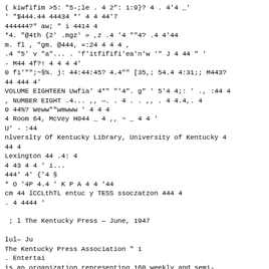( kiwfifim >5: "5-;le . 4 2": 1:9}? 4 . 4'4 _'
' "$444.44 44434 *' 4 4 44'7
444444?" aw; " i 4414 4
*4. "@4th {2' .mgz' » ,z .4 '4 ""4? .4 4'44
m. fl , "gm. @444, «:24 4 4 4 ,
.4 "5' v "a"... . 'f'itfififi'ea'n'w '" J 4 44 " '
- M44 4f?! 4 4 4 4'
0 fi'""';~§%. j: 44:44:45? 4.4"" [35,; 54.4 4:31;; M443?
44 444 4'
VOLUME EIGHTEEN Uwfia' 4*" "'4". g" ' 5'4 4;: ' ., :44 4
, NUMBER EIGHT .4... ,, —. . 4 . . ,, . 4 4.4,. 4
0 44%? Weww""wmwww ' 4 4 4
4 Room 64, McVey H044 _ 4 ,, ~ _ 4 4 '
U' - :44
nlverslty Of Kentucky Library, University of Kentucky 4
44 4
Lexington 44 .4: 4
4 43 4 4 ' i...
444' 4' {'4 §
* O '4P 4.4 ' K P A 4 4 '44
cm 44 lCCLthTL entuc y TESS ssoczatzon 444 4
. 4 4444 '

 ; l The Kentucky Press — June, 1947

lul— Ju
The Kentucky Press Association " 1
. Entertai
is an organization representing 160 weekly and semi-
the placing of advertising in their papers more easy »